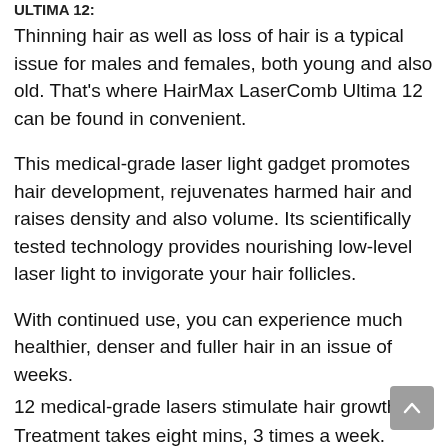ULTIMA 12:
Thinning hair as well as loss of hair is a typical issue for males and females, both young and also old. That’s where HairMax LaserComb Ultima 12 can be found in convenient.
This medical-grade laser light gadget promotes hair development, rejuvenates harmed hair and raises density and also volume. Its scientifically tested technology provides nourishing low-level laser light to invigorate your hair follicles.
With continued use, you can experience much healthier, denser and fuller hair in an issue of weeks.
12 medical-grade lasers stimulate hair growth.
Treatment takes eight mins, 3 times a week.
In scientific studies, 90% of participants experienced substantial hair growth.
FDA cleared for both males and females.